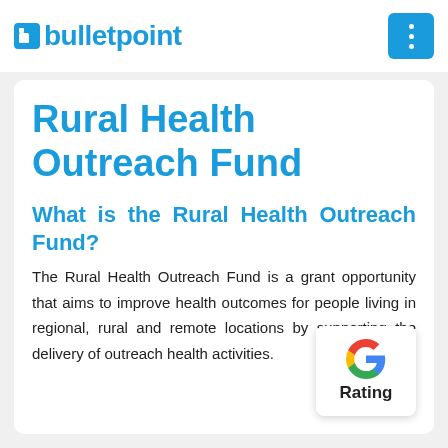bulletpoint
Rural Health Outreach Fund
What is the Rural Health Outreach Fund?
The Rural Health Outreach Fund is a grant opportunity that aims to improve health outcomes for people living in regional, rural and remote locations by supporting the delivery of outreach health activities.
[Figure (logo): Google 'G' logo with Rating label below]